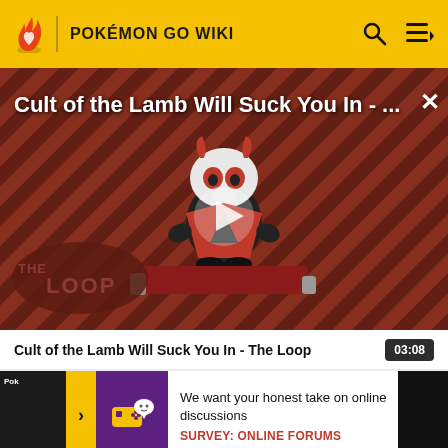POKÉMON GO WIKI
[Figure (screenshot): Video thumbnail for 'Cult of the Lamb Will Suck You In - The Loop' showing a cartoon lamb character on a red and dark striped background, with a play button overlay and 'THE LOOP' text badge at bottom left]
Cult of the Lamb Will Suck You In - The Loop
03:08
We want your honest take on online discussions
SURVEY: ONLINE FORUMS